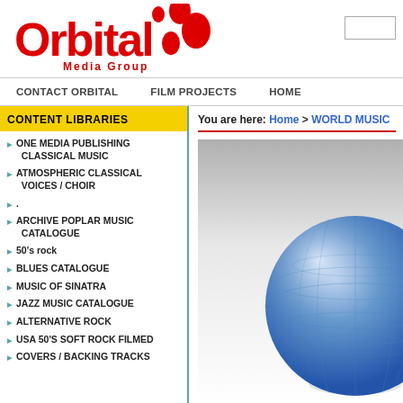[Figure (logo): Orbital Media Group logo with red stylized text and red dot decorations]
CONTACT ORBITAL   FILM PROJECTS   HOME
CONTENT LIBRARIES
You are here: Home > WORLD MUSIC
ONE MEDIA PUBLISHING CLASSICAL MUSIC
ATMOSPHERIC CLASSICAL VOICES / CHOIR
.
ARCHIVE POPLAR MUSIC CATALOGUE
50's rock
BLUES CATALOGUE
MUSIC OF SINATRA
JAZZ MUSIC CATALOGUE
ALTERNATIVE ROCK
USA 50's SOFT ROCK FILMED
COVERS / BACKING TRACKS
[Figure (photo): Globe/sphere image with blue and gray tones on white background]